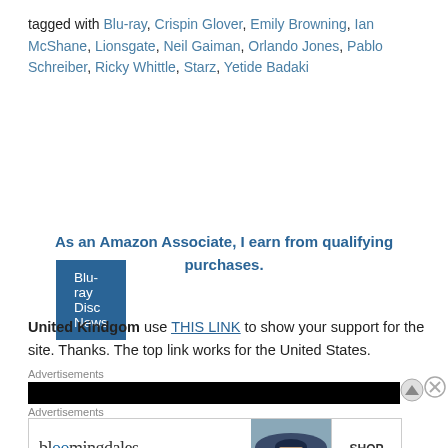tagged with Blu-ray, Crispin Glover, Emily Browning, Ian McShane, Lionsgate, Neil Gaiman, Orlando Jones, Pablo Schreiber, Ricky Whittle, Starz, Yetide Badaki
Blu-ray Disc News
As an Amazon Associate, I earn from qualifying purchases.
United Kindgom use THIS LINK to show your support for the site. Thanks. The top link works for the United States.
Advertisements
[Figure (other): Black advertisement banner]
Advertisements
[Figure (other): Bloomingdales advertisement: bloomingdales logo, View Today's Top Deals!, woman with hat image, SHOP NOW > button]